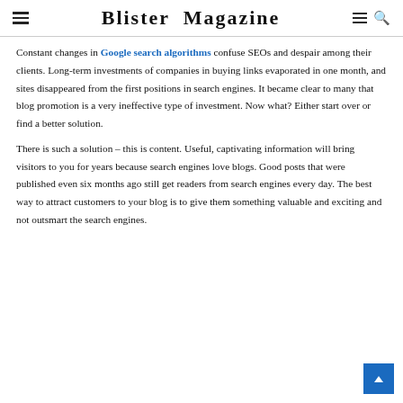Blister Magazine
Constant changes in Google search algorithms confuse SEOs and despair among their clients. Long-term investments of companies in buying links evaporated in one month, and sites disappeared from the first positions in search engines. It became clear to many that blog promotion is a very ineffective type of investment. Now what? Either start over or find a better solution.
There is such a solution – this is content. Useful, captivating information will bring visitors to you for years because search engines love blogs. Good posts that were published even six months ago still get readers from search engines every day. The best way to attract customers to your blog is to give them something valuable and exciting and not outsmart the search engines.